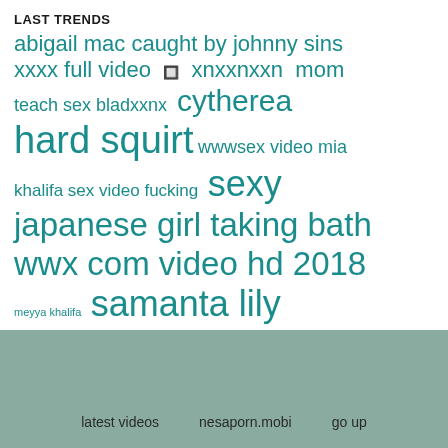LAST TRENDS
[Figure (infographic): Tag cloud of search trends in teal/dark cyan color on white background. Terms in varying font sizes: 'abigail mac caught by johnny sins', 'xxxx full video', 'xnxxnxxn', 'mom', 'teach sex bladxxnx', 'cytherea', 'hard squirt', 'wwwsex video mia', 'khalifa sex video fucking', 'sexy', 'japanese girl taking bath', 'wwx com video hd 2018', 'meyya khalifa', 'samanta lily', 'masturbation']
latest videos   nesaporn.mobi   go up